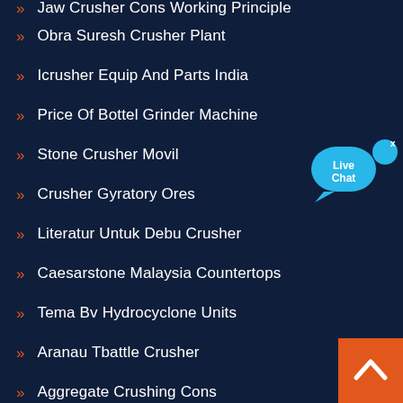Jaw Crusher Cons Working Principle
Obra Suresh Crusher Plant
Icrusher Equip And Parts India
Price Of Bottel Grinder Machine
Stone Crusher Movil
Crusher Gyratory Ores
Literatur Untuk Debu Crusher
Caesarstone Malaysia Countertops
Tema Bv Hydrocyclone Units
Aranau Tbattle Crusher
Aggregate Crushing Cons